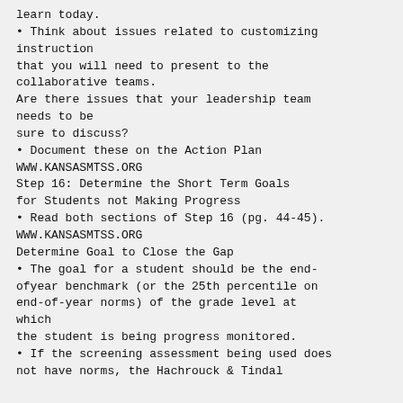learn today.
Think about issues related to customizing instruction that you will need to present to the collaborative teams. Are there issues that your leadership team needs to be sure to discuss?
Document these on the Action Plan
WWW.KANSASMTSS.ORG
Step 16: Determine the Short Term Goals for Students not Making Progress
Read both sections of Step 16 (pg. 44-45).
WWW.KANSASMTSS.ORG
Determine Goal to Close the Gap
The goal for a student should be the end-ofyear benchmark (or the 25th percentile on end-of-year norms) of the grade level at which the student is being progress monitored.
If the screening assessment being used does not have norms, the Hachrouck & Tindal